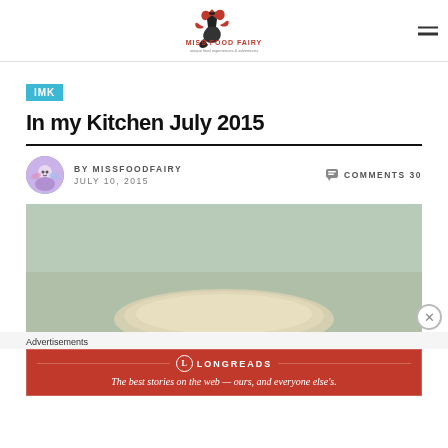MISS FOOD FAIRY - header logo with hamburger menu
IMK
In my Kitchen July 2015
BY MISSFOODFAIRY   JULY 10, 2015   COMMENTS 30
[Figure (photo): A food photograph showing what appears to be a round dough or baked item on a light green/mint background]
Advertisements
[Figure (other): Longreads advertisement banner: The best stories on the web — ours, and everyone else's.]